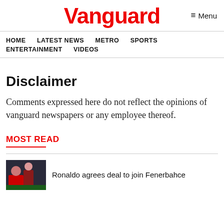Vanguard
HOME  LATEST NEWS  METRO  SPORTS  ENTERTAINMENT  VIDEOS
Disclaimer
Comments expressed here do not reflect the opinions of vanguard newspapers or any employee thereof.
MOST READ
Ronaldo agrees deal to join Fenerbahce